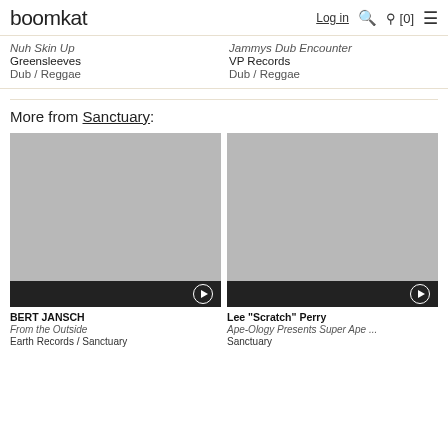boomkat | Log in | [0]
Nuh Skin Up
Greensleeves
Dub / Reggae
Jammys Dub Encounter
VP Records
Dub / Reggae
More from Sanctuary:
[Figure (photo): Album artwork placeholder for Bert Jansch - From the Outside, grey square with dark play bar at bottom]
BERT JANSCH
From the Outside
Earth Records / Sanctuary
[Figure (photo): Album artwork placeholder for Lee Scratch Perry - Ape-Ology Presents Super Ape, grey square with dark play bar at bottom]
Lee "Scratch" Perry
Ape-Ology Presents Super Ape ...
Sanctuary